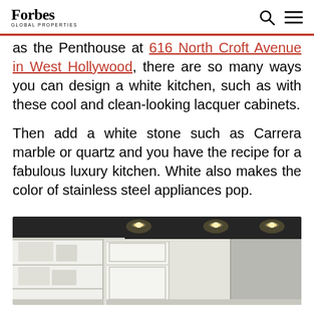Forbes Global Properties
as the Penthouse at 616 North Croft Avenue in West Hollywood, there are so many ways you can design a white kitchen, such as with these cool and clean-looking lacquer cabinets.
Then add a white stone such as Carrera marble or quartz and you have the recipe for a fabulous luxury kitchen. White also makes the color of stainless steel appliances pop.
[Figure (photo): Interior photo of a white luxury kitchen showing white lacquer cabinets with open shelving, recessed ceiling lights against dark ceiling, and stainless steel elements.]